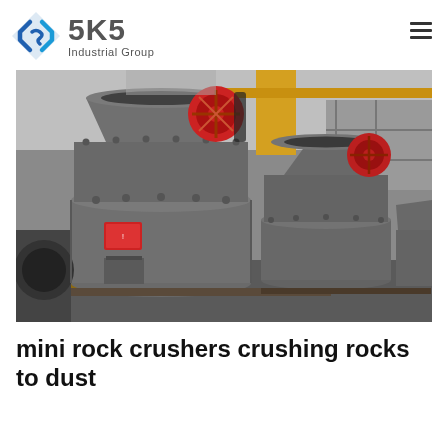[Figure (logo): SKS Industrial Group logo with blue diamond-S icon and grey company name text]
[Figure (photo): Industrial mini rock crushers (cone crushers) lined up in a factory warehouse. Large grey cylindrical cone crusher machines with red belt pulley wheels on top, mounted on metal frames on wooden pallets. Yellow overhead crane visible in background.]
mini rock crushers crushing rocks to dust